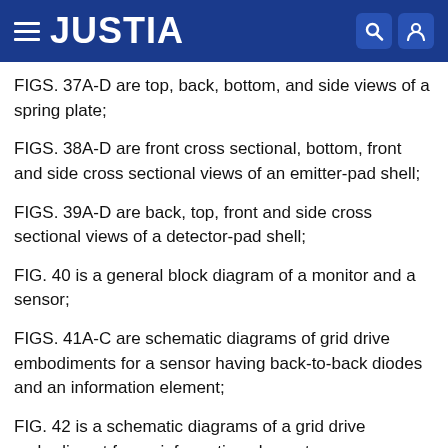JUSTIA
FIGS. 37A-D are top, back, bottom, and side views of a spring plate;
FIGS. 38A-D are front cross sectional, bottom, front and side cross sectional views of an emitter-pad shell;
FIGS. 39A-D are back, top, front and side cross sectional views of a detector-pad shell;
FIG. 40 is a general block diagram of a monitor and a sensor;
FIGS. 41A-C are schematic diagrams of grid drive embodiments for a sensor having back-to-back diodes and an information element;
FIG. 42 is a schematic diagrams of a grid drive embodiment for an information element;